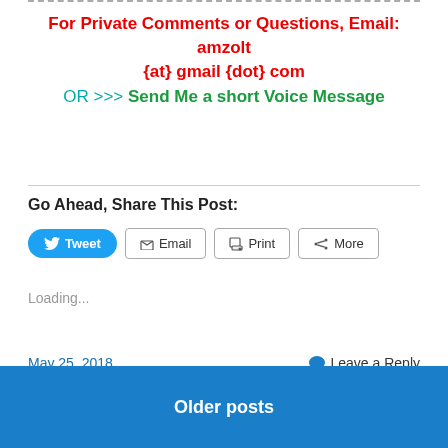For Private Comments or Questions, Email: amzolt {at} gmail {dot} com
OR >>> Send Me a short Voice Message
Go Ahead, Share This Post:
[Figure (screenshot): Social share buttons: Tweet, Email, Print, More]
Loading...
May 25, 2018
Leave a Reply
Older posts